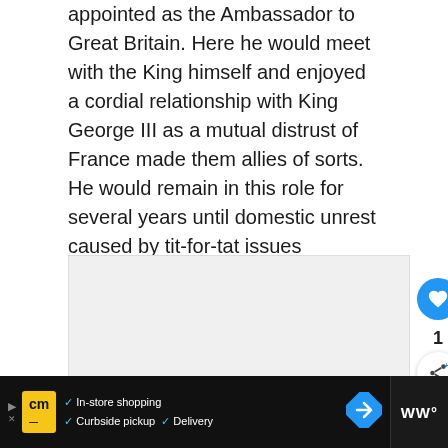appointed as the Ambassador to Great Britain. Here he would meet with the King himself and enjoyed a cordial relationship with King George III as a mutual distrust of France made them allies of sorts. He would remain in this role for several years until domestic unrest caused by tit-for-tat issues between America and Britain as well as local objection to new taxes being levied against them, would bring him home.
[Figure (photo): Blank/placeholder image area with social interaction buttons (like heart button, count of 1, share button) and a 'What's Next' teaser showing a portrait of President John Quincy Adams]
[Figure (screenshot): Advertisement bar at the bottom showing CM logo, in-store shopping, curbside pickup, delivery options with a navigation arrow icon and WW logo]